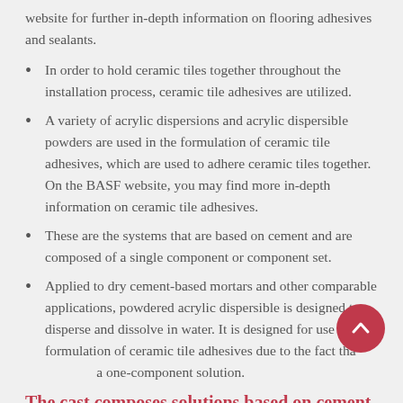website for further in-depth information on flooring adhesives and sealants.
In order to hold ceramic tiles together throughout the installation process, ceramic tile adhesives are utilized.
A variety of acrylic dispersions and acrylic dispersible powders are used in the formulation of ceramic tile adhesives, which are used to adhere ceramic tiles together. On the BASF website, you may find more in-depth information on ceramic tile adhesives.
These are the systems that are based on cement and are composed of a single component or component set.
Applied to dry cement-based mortars and other comparable applications, powdered acrylic dispersible is designed to disperse and dissolve in water. It is designed for use in the formulation of ceramic tile adhesives due to the fact that a one-component solution.
The cast composes solutions based on cement